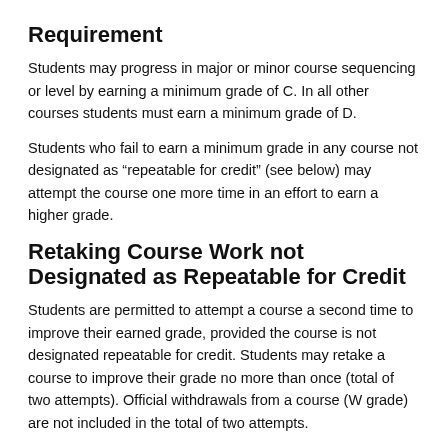Requirement
Students may progress in major or minor course sequencing or level by earning a minimum grade of C. In all other courses students must earn a minimum grade of D.
Students who fail to earn a minimum grade in any course not designated as “repeatable for credit” (see below) may attempt the course one more time in an effort to earn a higher grade.
Retaking Course Work not Designated as Repeatable for Credit
Students are permitted to attempt a course a second time to improve their earned grade, provided the course is not designated repeatable for credit. Students may retake a course to improve their grade no more than once (total of two attempts). Official withdrawals from a course (W grade) are not included in the total of two attempts.